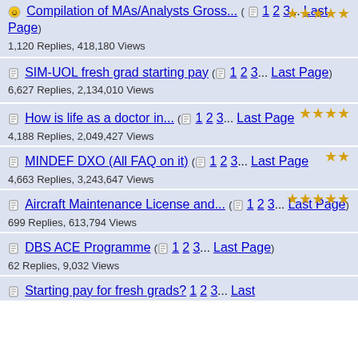Compilation of MAs/Analysts Gross... ( 1 2 3... Last Page ) 1,120 Replies, 418,180 Views
SIM-UOL fresh grad starting pay ( 1 2 3... Last Page ) 6,627 Replies, 2,134,010 Views
How is life as a doctor in... ( 1 2 3... Last Page ) 4,188 Replies, 2,049,427 Views
MINDEF DXO (All FAQ on it) ( 1 2 3... Last Page ) 4,663 Replies, 3,243,647 Views
Aircraft Maintenance License and... ( 1 2 3... Last Page ) 699 Replies, 613,794 Views
DBS ACE Programme ( 1 2 3... Last Page ) 62 Replies, 9,032 Views
Starting pay for fresh grads? 1 2 3... Last Page